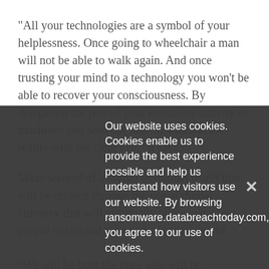"All your technologies are a symbol of your helplessness. Once going to wheelchair a man will not be able to walk again. And once trusting your mind to a technology you won't be able to recover your consciousness. By delegation the part of your conscious activity to machines you won't be able to watch at the reality with the clear eye," it says.
Maze warned of a digital dystopian world that will be created through the use of digital currency that will eventually allow just a few people to sue and then ruin, this new world.
"We will be both the ones who will be transformed and those to show you again the errors and mistakes and to get you out of this Maze," the group wrote.
Our website uses cookies. Cookies enable us to provide the best experience possible and help us understand how visitors use our website. By browsing ransomware.databreachtoday.com, you agree to our use of cookies.